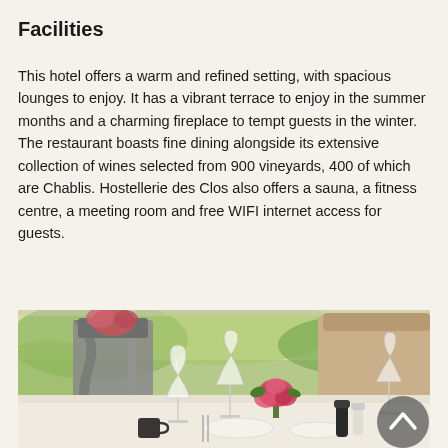Facilities
This hotel offers a warm and refined setting, with spacious lounges to enjoy. It has a vibrant terrace to enjoy in the summer months and a charming fireplace to tempt guests in the winter. The restaurant boasts fine dining alongside its extensive collection of wines selected from 900 vineyards, 400 of which are Chablis. Hostellerie des Clos also offers a sauna, a fitness centre, a meeting room and free WIFI internet access for guests.
[Figure (photo): Indoor restaurant dining scene with elegant table setting, wine glasses, floral centerpiece, chairs with grey and beige upholstery, large windows showing green outdoor garden. A circular scroll-up button overlay is visible in the bottom right.]